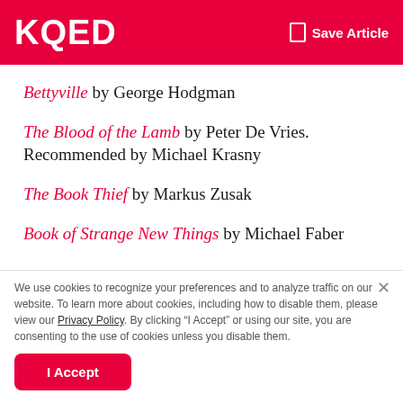KQED  Save Article
Bettyville by George Hodgman
The Blood of the Lamb by Peter De Vries. Recommended by Michael Krasny
The Book Thief by Markus Zusak
Book of Strange New Things by Michael Faber
We use cookies to recognize your preferences and to analyze traffic on our website. To learn more about cookies, including how to disable them, please view our Privacy Policy. By clicking “I Accept” or using our site, you are consenting to the use of cookies unless you disable them.
I Accept